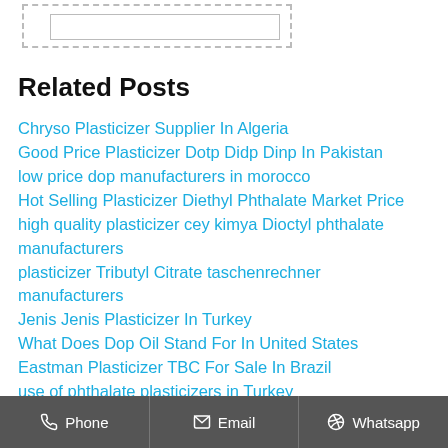[Figure (other): Dashed border box with an inner rectangle, resembling a search/input field placeholder]
Related Posts
Chryso Plasticizer Supplier In Algeria
Good Price Plasticizer Dotp Didp Dinp In Pakistan
low price dop manufacturers in morocco
Hot Selling Plasticizer Diethyl Phthalate Market Price
high quality plasticizer cey kimya Dioctyl phthalate manufacturers
plasticizer Tributyl Citrate taschenrechner manufacturers
Jenis Jenis Plasticizer In Turkey
What Does Dop Oil Stand For In United States
Eastman Plasticizer TBC For Sale In Brazil
use of phthalate plasticizers in Turkey
Plasticizer Voor Beton Kopen Cost In Spain
industrial grade plasticizer Diethyl Phthalate monoester
Phone   Email   Whatsapp